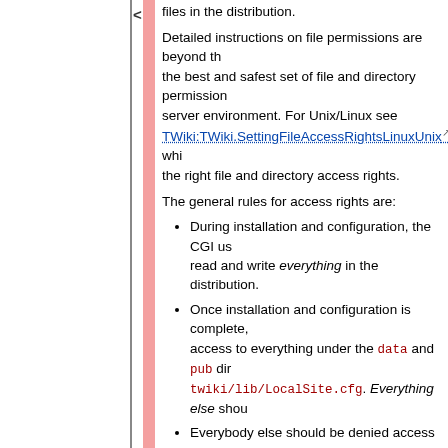files in the distribution.
Detailed instructions on file permissions are beyond the best and safest set of file and directory permissions server environment. For Unix/Linux see TWiki:TWiki.SettingFileAccessRightsLinuxUnix which the right file and directory access rights.
The general rules for access rights are:
During installation and configuration, the CGI user read and write everything in the distribution.
Once installation and configuration is complete, access to everything under the data and pub directories, twiki/lib/LocalSite.cfg. Everything else should
Everybody else should be denied access to everything.
Make sure Perl 5 and the Perl CGI library are installed. The default location of Perl is /usr/bin/perl. If it's so the path to Perl in the first line of each script in the twiki Some systems require a special extension on perl scripts. If necessary, rename all files in twiki/bin (i.e. rename w do this, make sure you set the ScriptSuffix option in
Create the file twiki/bin/LocalLib.cfg. There is a template for this file in twiki/bin/LocalLib. The file twiki/bin/LocalLib.cfg.txt must contain a s